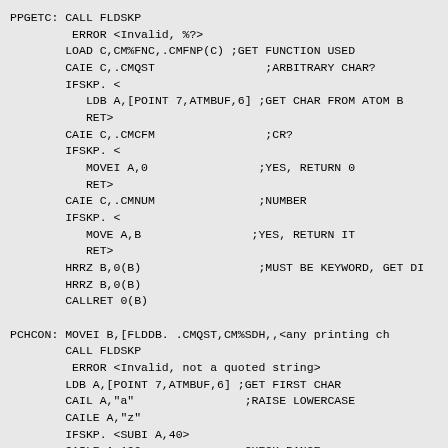PPGETC: CALL FLDSKP
        ERROR <Invalid, %?>
        LOAD C,CM%FNC,.CMFNP(C) ;GET FUNCTION USED
        CAIE C,.CMQST                ;ARBITRARY CHAR?
        IFSKP. <
           LDB A,[POINT 7,ATMBUF,6] ;GET CHAR FROM ATOM B
           RET>
        CAIE C,.CMCFM                ;CR?
        IFSKP. <
           MOVEI A,0                ;YES, RETURN 0
           RET>
        CAIE C,.CMNUM               ;NUMBER
        IFSKP. <
           MOVE A,B                ;YES, RETURN IT
           RET>
        HRRZ B,0(B)                 ;MUST BE KEYWORD, GET DI
        HRRZ B,0(B)
        CALLRET 0(B)

PCHCON: MOVEI B,[FLDDB. .CMQST,CM%SDH,,<any printing ch
        CALL FLDSKP
         ERROR <Invalid, not a quoted string>
        LDB A,[POINT 7,ATMBUF,6] ;GET FIRST CHAR
        CAIL A,"a"                ;RAISE LOWERCASE
        CAILE A,"z"
        IFSKP. <SUBI A,40>
        CAILE A,100              ;CHECK RANGE
        CAILE A,137
        ERROR <Invalid, not a control character>
        SUBI A,100